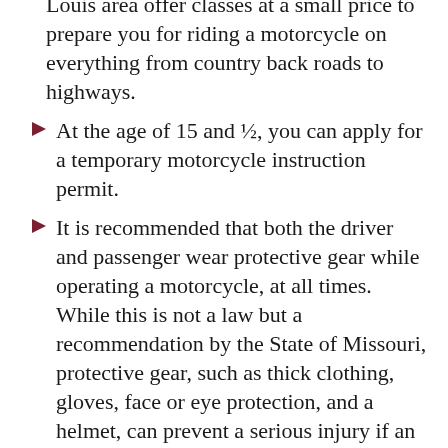Louis area offer classes at a small price to prepare you for riding a motorcycle on everything from country back roads to highways.
At the age of 15 and ½, you can apply for a temporary motorcycle instruction permit.
It is recommended that both the driver and passenger wear protective gear while operating a motorcycle, at all times. While this is not a law but a recommendation by the State of Missouri, protective gear, such as thick clothing, gloves, face or eye protection, and a helmet, can prevent a serious injury if an accident were to occur.
Motorcycles must carry the same